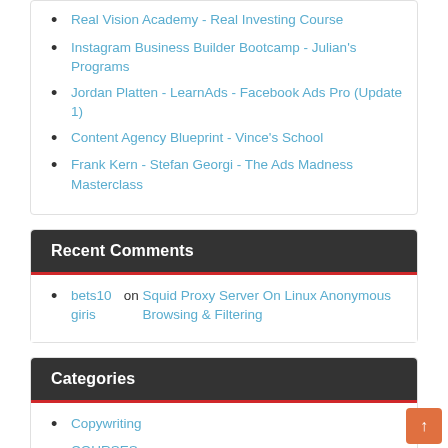Real Vision Academy - Real Investing Course
Instagram Business Builder Bootcamp - Julian's Programs
Jordan Platten - LearnAds - Facebook Ads Pro (Update 1)
Content Agency Blueprint - Vince's School
Frank Kern - Stefan Georgi - The Ads Madness Masterclass
Recent Comments
bets10 giris on Squid Proxy Server On Linux Anonymous Browsing & Filtering
Categories
Copywriting
COURSES